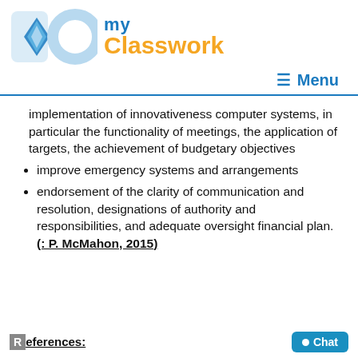[Figure (logo): DoMyClasswork logo with blue DO letters and orange Classwork text]
≡  Menu
implementation of innovativeness computer systems, in particular the functionality of meetings, the application of targets, the achievement of budgetary objectives
improve emergency systems and arrangements
endorsement of the clarity of communication and resolution, designations of authority and responsibilities, and adequate oversight financial plan. (: P. McMahon, 2015)
References: